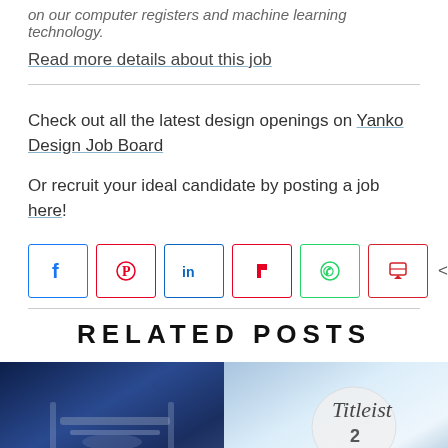on our computer registers and machine learning technology.
Read more details about this job
Check out all the latest design openings on Yanko Design Job Board
Or recruit your ideal candidate by posting a job here!
[Figure (infographic): Social share buttons row: Facebook, Pinterest, LinkedIn, Flipboard, WhatsApp, Pocket. Share count: 412 SHARES]
RELATED POSTS
[Figure (photo): Two side-by-side photos: left shows blue metallic object close-up, right shows a Titleist golf ball with number 2]